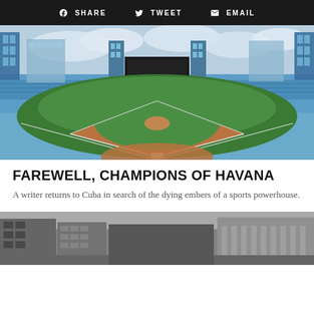SHARE  TWEET  EMAIL
[Figure (photo): Baseball stadium interior photo taken from behind home plate, showing the diamond and green field with blue stadium seats and scoreboards in the background. Taken at Latinoamericano Stadium in Havana, Cuba.]
FAREWELL, CHAMPIONS OF HAVANA
A writer returns to Cuba in search of the dying embers of a sports powerhouse.
[Figure (photo): Black and white photo of a Havana street with old colonial buildings.]